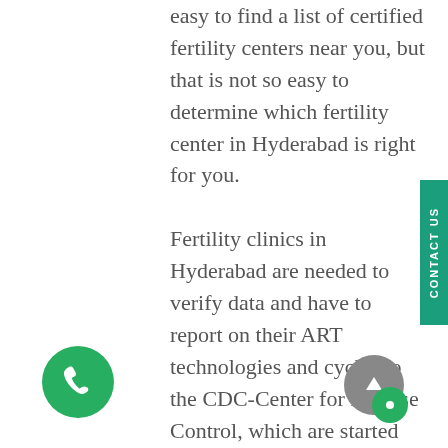easy to find a list of certified fertility centers near you, but that is not so easy to determine which fertility center in Hyderabad is right for you.

Fertility clinics in Hyderabad are needed to verify data and have to report on their ART technologies and cycles to the CDC-Center for Disease Control, which are started and carried